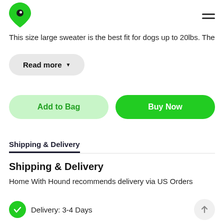[Figure (logo): Green map pin / location marker logo icon]
This size large sweater is the best fit for dogs up to 20lbs. The
Read more ▼
Add to Bag
Buy Now
Shipping & Delivery
Shipping & Delivery
Home With Hound recommends delivery via US Orders
Delivery: 3-4 Days